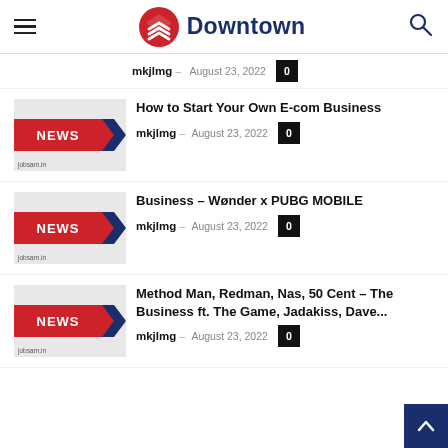Downtown
mkjlmg August 23, 2022 0
How to Start Your Own E-com Business
mkjlmg August 23, 2022 0
Business – Wønder x PUBG MOBILE
mkjlmg August 23, 2022 0
Method Man, Redman, Nas, 50 Cent – The Business ft. The Game, Jadakiss, Dave...
mkjlmg August 23, 2022 0